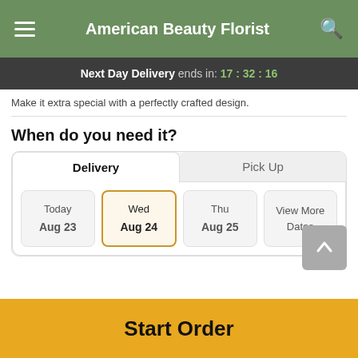American Beauty Florist
Next Day Delivery ends in: 17:32:16
Make it extra special with a perfectly crafted design.
When do you need it?
Delivery | Pick Up
Today Aug 23 | Wed Aug 24 | Thu Aug 25 | View More Dates
Guaranteed SAFE Checkout
Start Order